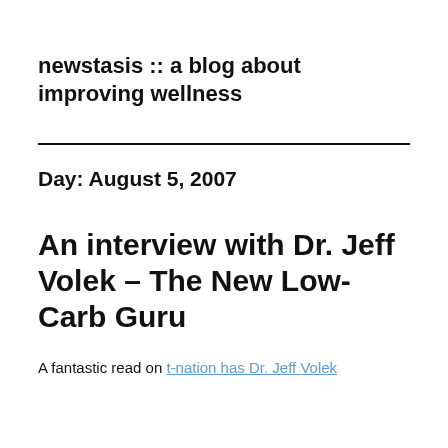newstasis :: a blog about improving wellness
Day: August 5, 2007
An interview with Dr. Jeff Volek – The New Low-Carb Guru
A fantastic read on t-nation has Dr. Jeff Volek